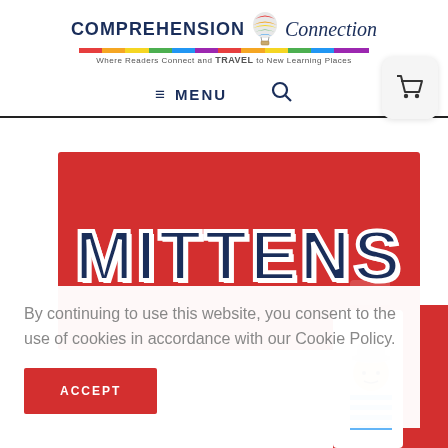[Figure (logo): Comprehension Connection logo with hot air balloon, tagline 'Where Readers Connect and TRAVEL to New Learning Places']
≡ MENU 🔍
[Figure (illustration): Red banner with 'MITTENS' text in large dark blue block letters with white outline, and a cartoon boy partially visible]
By continuing to use this website, you consent to the use of cookies in accordance with our Cookie Policy.
ACCEPT